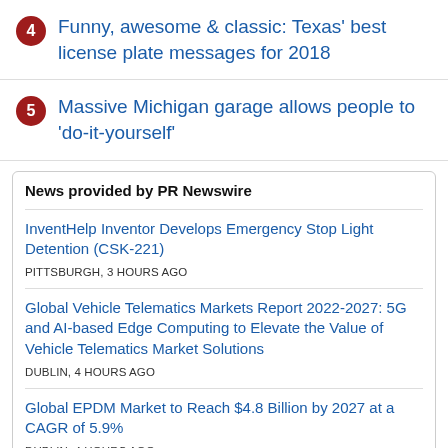4 Funny, awesome & classic: Texas' best license plate messages for 2018
5 Massive Michigan garage allows people to 'do-it-yourself'
News provided by PR Newswire
InventHelp Inventor Develops Emergency Stop Light Detention (CSK-221)
PITTSBURGH, 3 hours ago
Global Vehicle Telematics Markets Report 2022-2027: 5G and AI-based Edge Computing to Elevate the Value of Vehicle Telematics Market Solutions
DUBLIN, 4 hours ago
Global EPDM Market to Reach $4.8 Billion by 2027 at a CAGR of 5.9%
DUBLIN, 4 hours ago
InventHelp Inventor Develops Safety/Surveillance